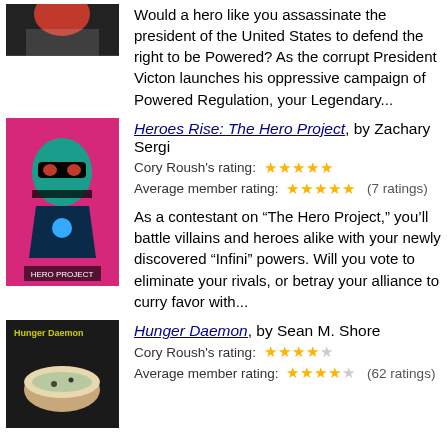[Figure (illustration): Partial book cover image at top left, dark figure]
Would a hero like you assassinate the president of the United States to defend the right to be Powered? As the corrupt President Victon launches his oppressive campaign of Powered Regulation, your Legendary...
[Figure (illustration): Book cover for Heroes Rise: The Hero Project, pink/magenta background with masked figure]
Heroes Rise: The Hero Project, by Zachary Sergi
Cory Roush's rating: ★★★★★
Average member rating: ★★★★½ (7 ratings)
As a contestant on “The Hero Project,” you’ll battle villains and heroes alike with your newly discovered “Infini” powers. Will you vote to eliminate your rivals, or betray your alliance to curry favor with...
[Figure (photo): Book cover for Hunger Daemon, dark background with bowl]
Hunger Daemon, by Sean M. Shore
Cory Roush's rating: ★★★★☆
Average member rating: ★★★★☆ (62 ratings)